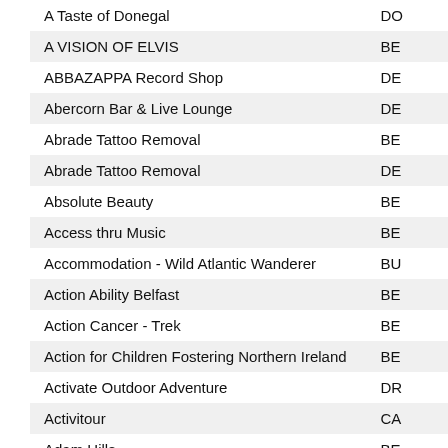| Name | Code |
| --- | --- |
| A Taste of Donegal | DO |
| A VISION OF ELVIS | BE |
| ABBAZAPPA Record Shop | DE |
| Abercorn Bar & Live Lounge | DE |
| Abrade Tattoo Removal | BE |
| Abrade Tattoo Removal | DE |
| Absolute Beauty | BE |
| Access thru Music | BE |
| Accommodation - Wild Atlantic Wanderer | BU |
| Action Ability Belfast | BE |
| Action Cancer - Trek | BE |
| Action for Children Fostering Northern Ireland | BE |
| Activate Outdoor Adventure | DR |
| Activitour | CA |
| Adam Hills | BE |
| Adventure Gently | DR |
| Aetherandecho | BE |
| Age N I | LIS |